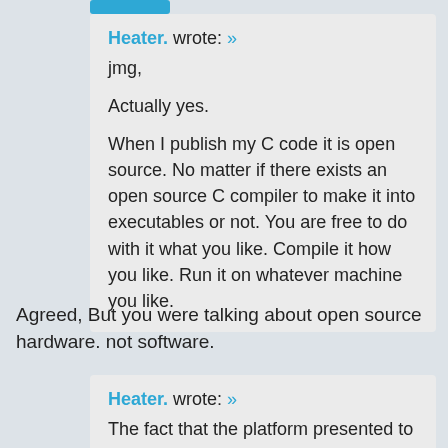Heater. wrote: »
jmg,

Actually yes.

When I publish my C code it is open source. No matter if there exists an open source C compiler to make it into executables or not. You are free to do with it what you like. Compile it how you like. Run it on whatever machine you like.
Agreed, But you were talking about open source hardware. not software.
Heater. wrote: »
The fact that the platform presented to implement that Verilog on is a closed FPGA from Altera does not detract from the openness of the Verilog.